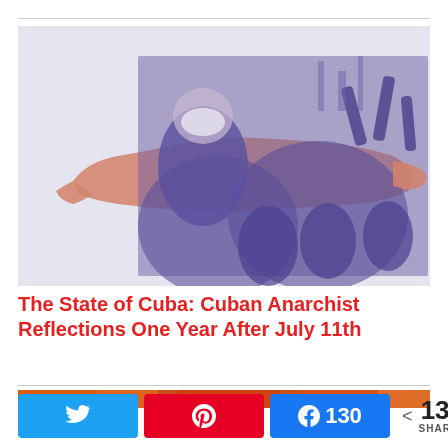[Figure (illustration): Collage image showing a crowd of protesters overlaid with a map outline of Cuba in pink/salmon color. The crowd image is duotone purple/blue. People are shown with raised arms. Background is light lavender/gray.]
The State of Cuba: Cuban Anarchist Reflections One Year After July 11th
[Figure (photo): Partial photo at bottom showing fire/flames in warm orange tones, partially visible.]
N Tweet  A Pin  Share 130  < 130 SHARES